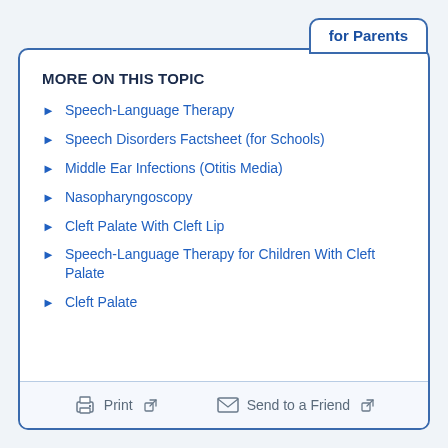for Parents
MORE ON THIS TOPIC
Speech-Language Therapy
Speech Disorders Factsheet (for Schools)
Middle Ear Infections (Otitis Media)
Nasopharyngoscopy
Cleft Palate With Cleft Lip
Speech-Language Therapy for Children With Cleft Palate
Cleft Palate
Print  Send to a Friend